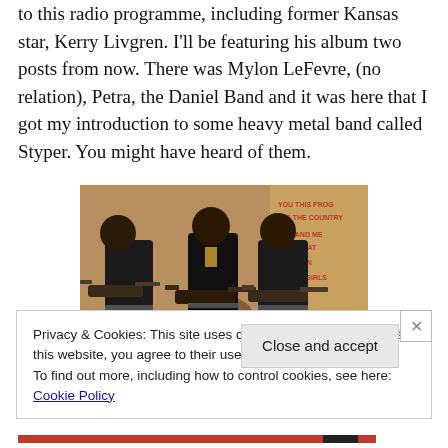to this radio programme, including former Kansas star, Kerry Livgren. I'll be featuring his album two posts from now. There was Mylon LeFevre, (no relation), Petra, the Daniel Band and it was here that I got my introduction to some heavy metal band called Styper. You might have heard of them.
[Figure (photo): Band photo showing four musicians performing, wearing black outfits, with guitars and drums, in front of a painted backdrop with red graffiti-style text]
Privacy & Cookies: This site uses cookies. By continuing to use this website, you agree to their use.
To find out more, including how to control cookies, see here: Cookie Policy
Close and accept